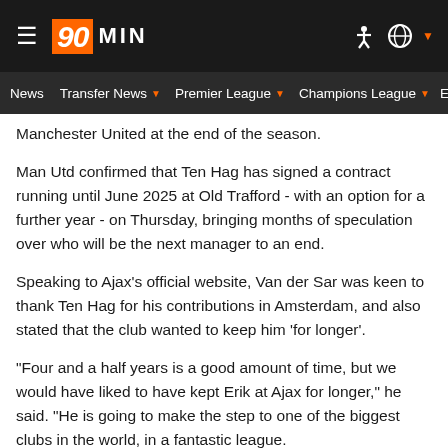90MIN — Navigation bar with News, Transfer News, Premier League, Champions League, Eu...
Manchester United at the end of the season.
Man Utd confirmed that Ten Hag has signed a contract running until June 2025 at Old Trafford - with an option for a further year - on Thursday, bringing months of speculation over who will be the next manager to an end.
Speaking to Ajax's official website, Van der Sar was keen to thank Ten Hag for his contributions in Amsterdam, and also stated that the club wanted to keep him 'for longer'.
"Four and a half years is a good amount of time, but we would have liked to have kept Erik at Ajax for longer," he said. "He is going to make the step to one of the biggest clubs in the world, in a fantastic league.
"We owe Erik a lot of thanks for what he has achieved with